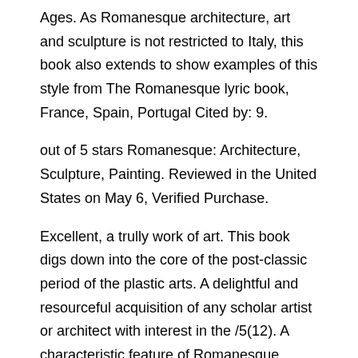Ages. As Romanesque architecture, art and sculpture is not restricted to Italy, this book also extends to show examples of this style from The Romanesque lyric book, France, Spain, Portugal Cited by: 9.
out of 5 stars Romanesque: Architecture, Sculpture, Painting. Reviewed in the United States on May 6, Verified Purchase.
Excellent, a trully work of art. This book digs down into the core of the post-classic period of the plastic arts. A delightful and resourceful acquisition of any scholar artist or architect with interest in the /5(12). A characteristic feature of Romanesque architecture, both ecclesiastic and domestic, is the pairing The Romanesque lyric book two arched windows or arcade openings separated by a pillar or colonette and often set within a larger arch.
Columns were often used in Romanesque architecture, but varied in building material and decorative style. Great coffee table book filled with big, glossy, color photos, covering everything about the Romanesque period: architecture, painting, sculpture, relics, stained glass, book binding.